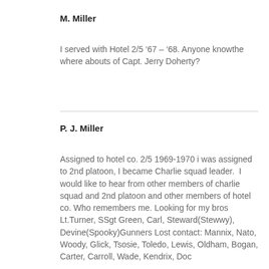M. Miller
I served with Hotel 2/5 ’67 – ’68. Anyone knowthe where abouts of Capt. Jerry Doherty?
P. J. Miller
Assigned to hotel co. 2/5 1969-1970 i was assigned to 2nd platoon, I became Charlie squad leader.  I would like to hear from other members of charlie squad and 2nd platoon and other members of hotel co. Who remembers me. Looking for my bros Lt.Turner, SSgt Green, Carl, Steward(Stewwy), Devine(Spooky)Gunners Lost contact: Mannix, Nato, Woody, Glick, Tsosie, Toledo, Lewis, Oldham, Bogan, Carter, Carroll, Wade, Kendrix, Doc